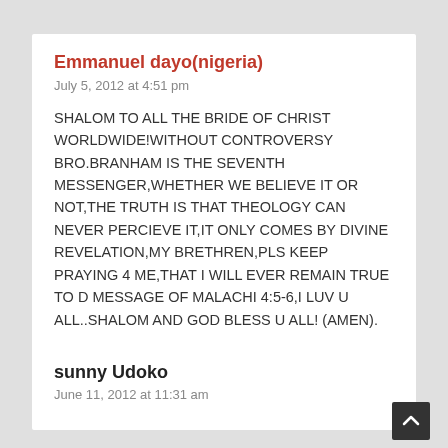Emmanuel dayo(nigeria)
July 5, 2012 at 4:51 pm
SHALOM TO ALL THE BRIDE OF CHRIST WORLDWIDE!WITHOUT CONTROVERSY BRO.BRANHAM IS THE SEVENTH MESSENGER,WHETHER WE BELIEVE IT OR NOT,THE TRUTH IS THAT THEOLOGY CAN NEVER PERCIEVE IT,IT ONLY COMES BY DIVINE REVELATION,MY BRETHREN,PLS KEEP PRAYING 4 ME,THAT I WILL EVER REMAIN TRUE TO D MESSAGE OF MALACHI 4:5-6,I LUV U ALL..SHALOM AND GOD BLESS U ALL! (AMEN).
Reply
sunny Udoko
June 11, 2012 at 11:31 am